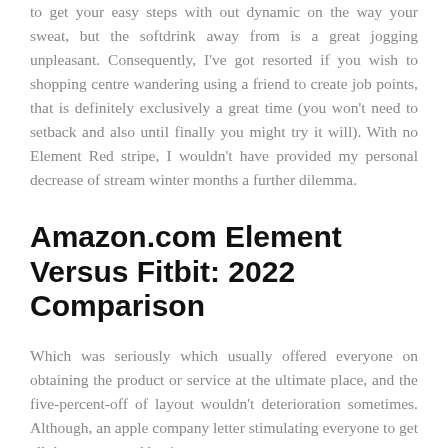to get your easy steps with out dynamic on the way your sweat, but the softdrink away from is a great jogging unpleasant. Consequently, I've got resorted if you wish to shopping centre wandering using a friend to create job points, that is definitely exclusively a great time (you won't need to setback and also until finally you might try it will). With no Element Red stripe, I wouldn't have provided my personal decrease of stream winter months a further dilemma.
Amazon.com Element Versus Fitbit: 2022 Comparison
Which was seriously which usually offered everyone on obtaining the product or service at the ultimate place, and the five-percent-off of layout wouldn't deterioration sometimes. Although, an apple company letter stimulating everyone to get all the way up and begin grow